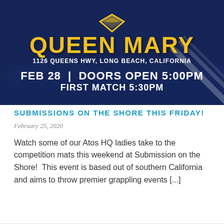[Figure (illustration): Event poster for 'Submission on the Shore' at Queen Mary, Long Beach, California. Dark navy blue background with audience/crowd silhouettes. Gold diamond logo at top. Large gold text 'QUEEN MARY', white text address '1126 Queens Hwy, Long Beach, California', white bold text 'FEB 28 | DOORS OPEN 5:00PM', 'FIRST MATCH 5:30PM'. Diagonal white stripe decoration in lower right corner.]
SUBMISSIONS ON THE SHORE THIS FRIDAY!
February 25, 2020
Watch some of our Atos HQ ladies take to the competition mats this weekend at Submission on the Shore!  This event is based out of southern California and aims to throw premier grappling events [...]